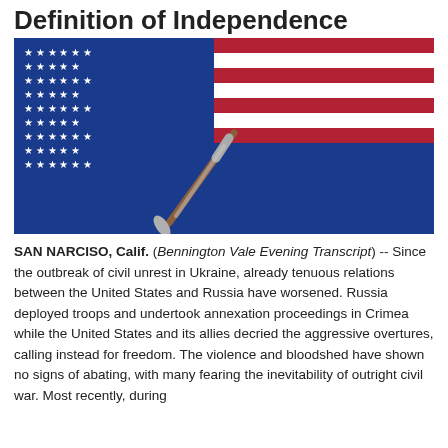Definition of Independence
[Figure (illustration): A paintbrush painting the US flag over/onto the Ukrainian flag. The left half shows the blue canton with white stars of the US flag; the right half shows the red and white stripes of the US flag. Below is the blue and yellow Ukrainian flag. A paintbrush is depicted mid-stroke transitioning between the two flags.]
SAN NARCISO, Calif. (Bennington Vale Evening Transcript) -- Since the outbreak of civil unrest in Ukraine, already tenuous relations between the United States and Russia have worsened. Russia deployed troops and undertook annexation proceedings in Crimea while the United States and its allies decried the aggressive overtures, calling instead for freedom. The violence and bloodshed have shown no signs of abating, with many fearing the inevitability of outright civil war. Most recently, during